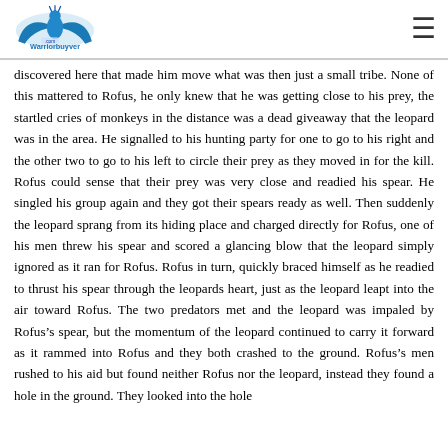Warriorbuyver.com
discovered here that made him move what was then just a small tribe. None of this mattered to Rofus, he only knew that he was getting close to his prey, the startled cries of monkeys in the distance was a dead giveaway that the leopard was in the area. He signalled to his hunting party for one to go to his right and the other two to go to his left to circle their prey as they moved in for the kill. Rofus could sense that their prey was very close and readied his spear. He singled his group again and they got their spears ready as well. Then suddenly the leopard sprang from its hiding place and charged directly for Rofus, one of his men threw his spear and scored a glancing blow that the leopard simply ignored as it ran for Rofus. Rofus in turn, quickly braced himself as he readied to thrust his spear through the leopards heart, just as the leopard leapt into the air toward Rofus. The two predators met and the leopard was impaled by Rofus’s spear, but the momentum of the leopard continued to carry it forward as it rammed into Rofus and they both crashed to the ground. Rofus’s men rushed to his aid but found neither Rofus nor the leopard, instead they found a hole in the ground. They looked into the hole